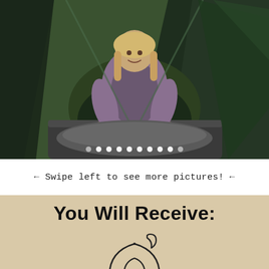[Figure (photo): A woman with blonde hair wearing a purple/mauve vest and long-sleeve shirt, sitting inside a green camping tent, looking at the camera. Sleeping pad visible in the foreground. Green tent walls and outdoor nature background visible.]
← Swipe left to see more pictures! ←
You Will Receive:
[Figure (illustration): Line art icon of a camping tent (dome tent) with a crescent moon above it, drawn in dark outline style on beige background.]